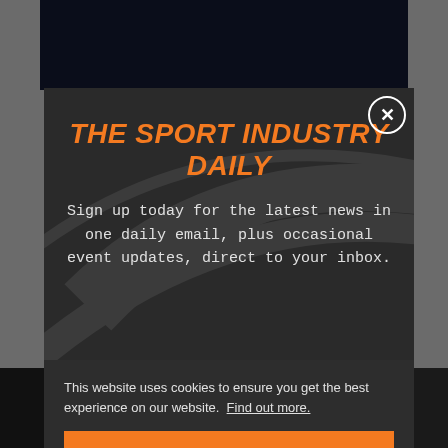THE SPORT INDUSTRY DAILY
Sign up today for the latest news in one daily email, plus occasional event updates, direct to your inbox.
This website uses cookies to ensure you get the best experience on our website. Find out more.
Accept & Close